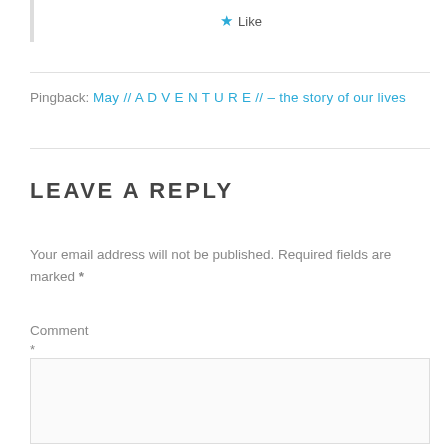★ Like
Pingback: May // A D V E N T U R E // – the story of our lives
LEAVE A REPLY
Your email address will not be published. Required fields are marked *
Comment
*